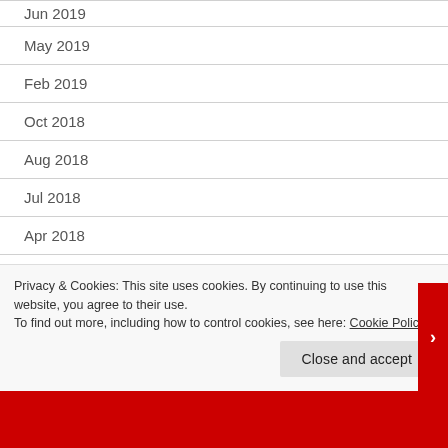Jun 2019
May 2019
Feb 2019
Oct 2018
Aug 2018
Jul 2018
Apr 2018
Mar 2018
Privacy & Cookies: This site uses cookies. By continuing to use this website, you agree to their use. To find out more, including how to control cookies, see here: Cookie Policy
Close and accept